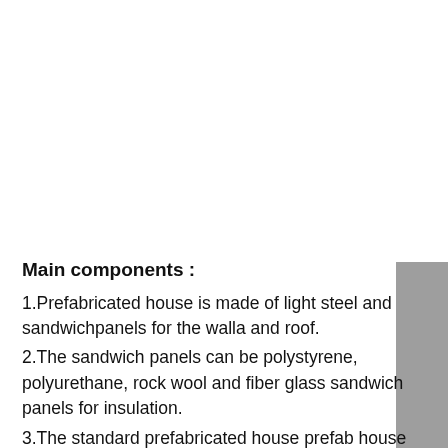Main components :
1.Prefabricated house is made of light steel and sandwichpanels for the walla and roof.
2.The sandwich panels can be polystyrene, polyurethane, rock wool and fiber glass sandwich panels for insulation.
3.The standard prefabricated house prefab house is